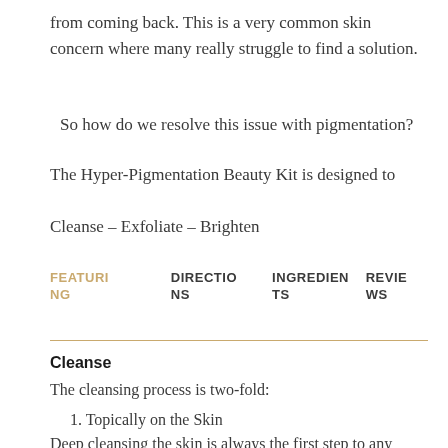from coming back. This is a very common skin concern where many really struggle to find a solution.
So how do we resolve this issue with pigmentation?
The Hyper-Pigmentation Beauty Kit is designed to
Cleanse – Exfoliate – Brighten
FEATURING  DIRECTIONS  INGREDIENTS  REVIEWS
Cleanse
The cleansing process is two-fold:
1. Topically on the Skin
Deep cleansing the skin is always the first step to any skincare routine. The reason is purely from the importance